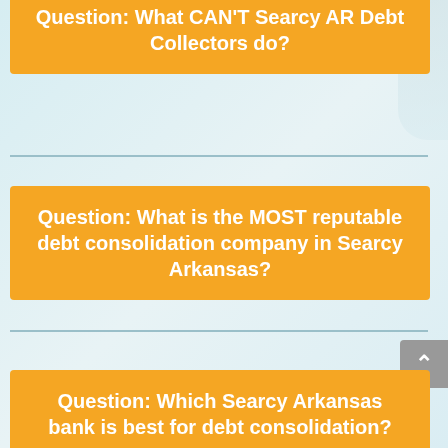Question: What CAN'T Searcy AR Debt Collectors do?
Question: What is the MOST reputable debt consolidation company in Searcy Arkansas?
Question: Which Searcy Arkansas bank is best for debt consolidation?